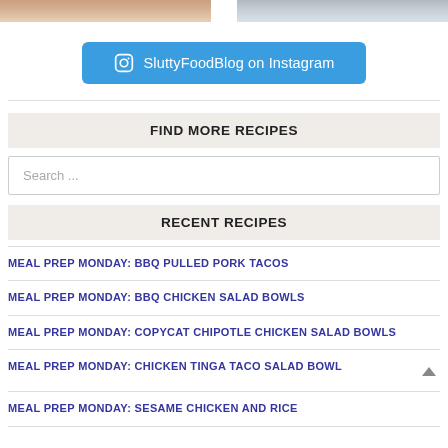[Figure (photo): Two food photos at the top of the page, side by side]
SluttyFoodBlog on Instagram
FIND MORE RECIPES
Search ...
RECENT RECIPES
MEAL PREP MONDAY: BBQ PULLED PORK TACOS
MEAL PREP MONDAY: BBQ CHICKEN SALAD BOWLS
MEAL PREP MONDAY: COPYCAT CHIPOTLE CHICKEN SALAD BOWLS
MEAL PREP MONDAY: CHICKEN TINGA TACO SALAD BOWL
MEAL PREP MONDAY: SESAME CHICKEN AND RICE